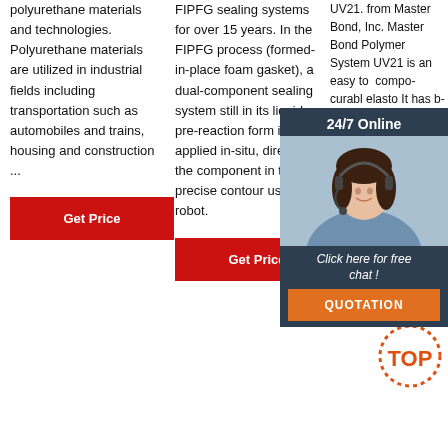polyurethane materials and technologies. Polyurethane materials are utilized in industrial fields including transportation such as automobiles and trains, housing and construction ...
Get Price
FIPFG sealing systems for over 15 years. In the FIPFG process (formed-in-place foam gasket), a dual-component sealing system still in its liquid pre-reaction form is applied in-situ, directly to the component in the precise contour using a robot.
Get Price
UV21. from Master Bond, Inc. Master Bond Polymer System UV21 is an easy to ... component ... curable ... elastomer ... It has bonding ... casting ... place ... performance ... and gas... UV21 is a solvent free system and has an ...
[Figure (photo): Chat widget overlay with woman wearing headset, '24/7 Online' header, 'Click here for free chat!' text, and orange QUOTATION button]
Get Price